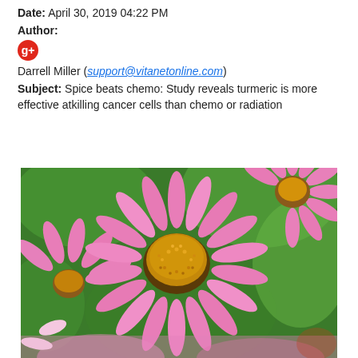Date: April 30, 2019 04:22 PM
Author:
[Figure (logo): Google+ red circular icon]
Darrell Miller (support@vitanetonline.com)
Subject: Spice beats chemo: Study reveals turmeric is more effective atkilling cancer cells than chemo or radiation
[Figure (photo): Close-up photograph of pink echinacea (coneflower) flowers with orange-brown spiky centers against a green background]